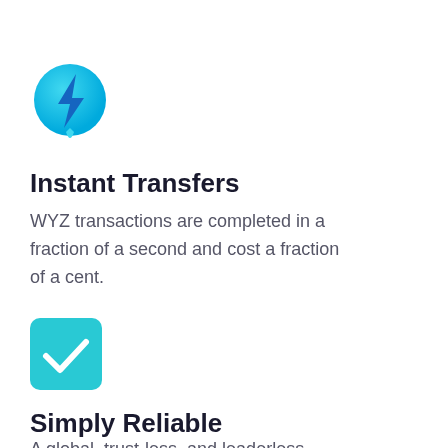[Figure (logo): Cyan circle with a dark blue lightning bolt icon inside]
Instant Transfers
WYZ transactions are completed in a fraction of a second and cost a fraction of a cent.
[Figure (logo): Cyan rounded square with a white checkmark inside]
Simply Reliable
A global, trust-less, and leaderless Proof-